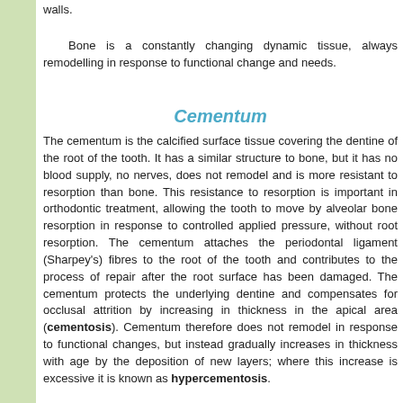walls.
Bone is a constantly changing dynamic tissue, always remodelling in response to functional change and needs.
Cementum
The cementum is the calcified surface tissue covering the dentine of the root of the tooth. It has a similar structure to bone, but it has no blood supply, no nerves, does not remodel and is more resistant to resorption than bone. This resistance to resorption is important in orthodontic treatment, allowing the tooth to move by alveolar bone resorption in response to controlled applied pressure, without root resorption. The cementum attaches the periodontal ligament (Sharpey's) fibres to the root of the tooth and contributes to the process of repair after the root surface has been damaged. The cementum protects the underlying dentine and compensates for occlusal attrition by increasing in thickness in the apical area (cementosis). Cementum therefore does not remodel in response to functional changes, but instead gradually increases in thickness with age by the deposition of new layers; where this increase is excessive it is known as hypercementosis.